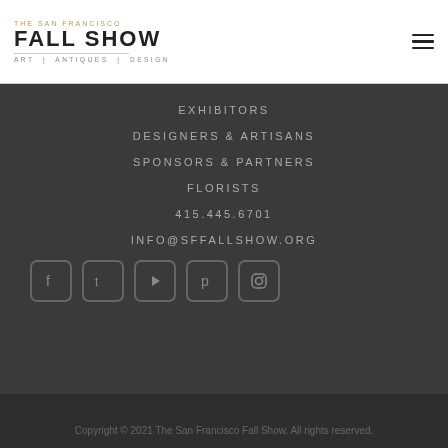THE SAN FRANCISCO FALL SHOW ART | ANTIQUES | DESIGN
EXHIBITORS
DESIGNERS & ARTISANS
SPONSORS & PARTNERS
FLORISTS
415.445.6701
INFO@SFFALLSHOW.ORG
[Figure (infographic): Row of 5 social media icon buttons: Facebook, Twitter, YouTube, Pinterest, Instagram]
Copyright © 2021 The San Francisco Fall Show. All rights reserved.